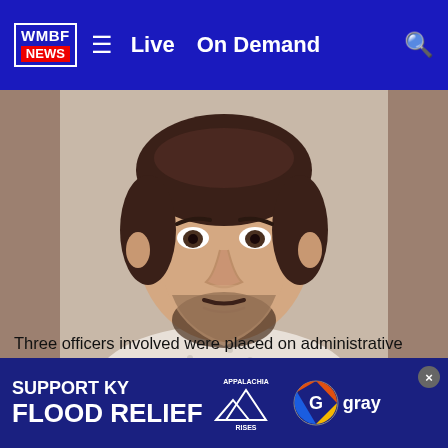WMBF NEWS  ≡  Live  On Demand  🔍
[Figure (photo): Mugshot of Joshua Tyler Funk, a young white male with dark curly hair and a beard, wearing a light-colored patterned shirt. Photo credited to Gaston County Sheriff's Office.]
Joshua Tyler Funk  (Gaston County Sheriff's Office (Custom credit) | Gaston County Sheriff's Office)
Three officers involved were placed on administrative leave to ensure their respective department policies and procedures were followed, which is standard procedure.
At 3 p.
[Figure (infographic): Advertisement banner: SUPPORT KY FLOOD RELIEF with Appalachia Rises and Gray logos]